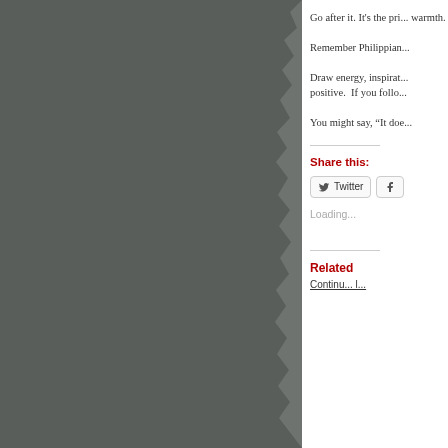[Figure (photo): Dark gray torn paper or textured surface on the left side of the page, with a ragged torn edge on the right side of the image panel.]
Go after it. It's the pri... warmth.
Remember Philippian...
Draw energy, inspirat... positive.  If you follo...
You might say, “It doe...
Share this:
Twitter  Facebook
Loading...
Related
Continu... l...